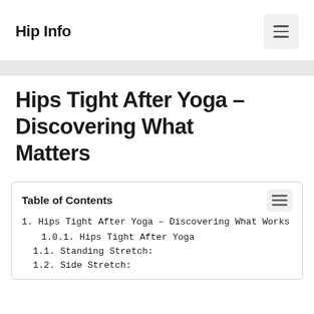Hip Info
Hips Tight After Yoga – Discovering What Matters
Table of Contents
1. Hips Tight After Yoga – Discovering What Works
1.0.1. Hips Tight After Yoga
1.1. Standing Stretch:
1.2. Side Stretch: